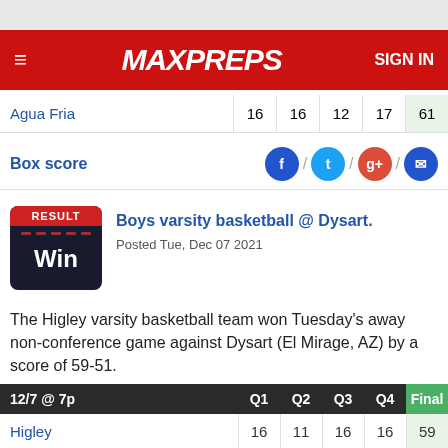MaxPreps — SIGN IN
| Team | Q1 | Q2 | Q3 | Q4 | Final |
| --- | --- | --- | --- | --- | --- |
| Agua Fria | 16 | 16 | 12 | 17 | 61 |
Box score
[Figure (screenshot): Result badge showing Win]
Boys varsity basketball @ Dysart.
Posted Tue, Dec 07 2021
The Higley varsity basketball team won Tuesday's away non-conference game against Dysart (El Mirage, AZ) by a score of 59-51.
| 12/7 @ 7p | Q1 | Q2 | Q3 | Q4 | Final |
| --- | --- | --- | --- | --- | --- |
| Higley | 16 | 11 | 16 | 16 | 59 |